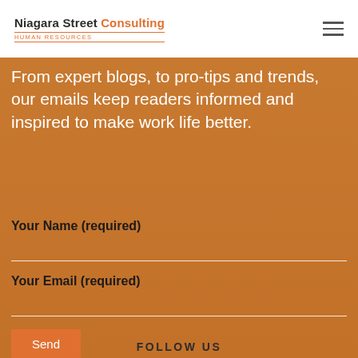Niagara Street Consulting Human Resources
From expert blogs, to pro-tips and trends, our emails keep readers informed and inspired to make work life better.
Your Name (required)
Your Email (required)
Send
FOLLOW US